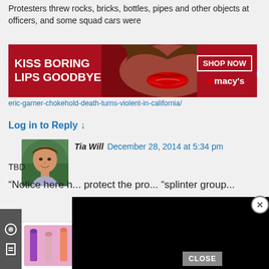Protesters threw rocks, bricks, bottles, pipes and other objects at officers, and some squad cars were
[Figure (screenshot): Macy's advertisement banner: 'KISS BORING LIPS GOODBYE' with woman's face and red lips, SHOP NOW button and Macy's logo on red background]
eric-garner-chokehold-death-turns-violent-in-california/
Log in to Reply ↓
[Figure (photo): Avatar photo of Tia Will - woman outdoors with green background]
Tia Will December 28, 2014 at 5:34 pm
TBD
“Notice here h... protect the pro... “splinter group...
So if I am at a pro... completely peaceful manner, am I to be blamed for the actions of others at the protest who may be vandalizing ?  Using this rationa...
[Figure (screenshot): Black video player overlay popup covering part of the comment text]
[Figure (screenshot): MAC cosmetics advertisement: lipstick products with SHOP NOW button]
CLOSE
the... ow... b...